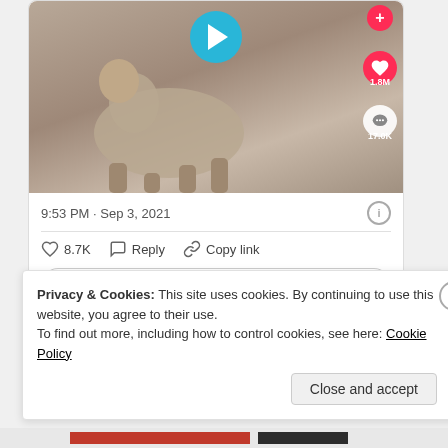[Figure (screenshot): TikTok-style video thumbnail showing a dog walking, with play button overlay, heart/comment icons on right side showing 1.8M likes and 17.0K comments]
9:53 PM · Sep 3, 2021
8.7K   Reply   Copy link
Read 333 replies
Privacy & Cookies: This site uses cookies. By continuing to use this website, you agree to their use.
To find out more, including how to control cookies, see here: Cookie Policy
Close and accept